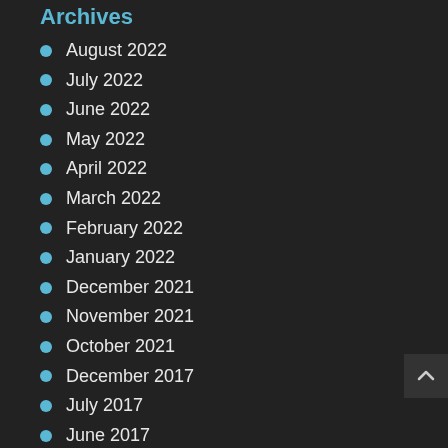Archives
August 2022
July 2022
June 2022
May 2022
April 2022
March 2022
February 2022
January 2022
December 2021
November 2021
October 2021
December 2017
July 2017
June 2017